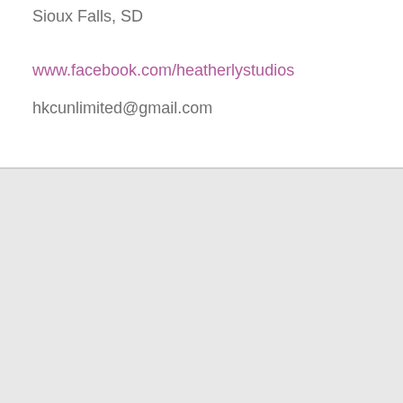Sioux Falls, SD
www.facebook.com/heatherlystudios
hkcunlimited@gmail.com